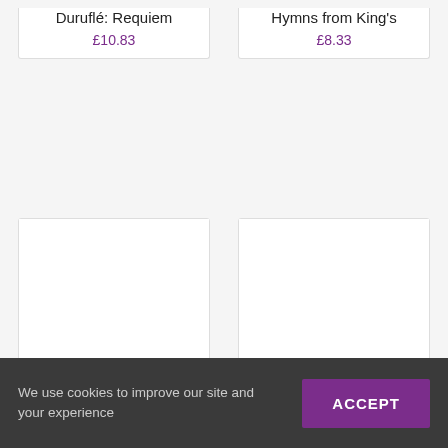Duruflé: Requiem
£10.83
Hymns from King's
£8.33
[Figure (other): Product card image placeholder for Evensong Live 2016]
Evensong Live 2016
£7.08
[Figure (other): Product card image placeholder for Carols from King's: 60th Anniversary]
Carols from King's: 60th Anniversary
We use cookies to improve our site and your experience
ACCEPT